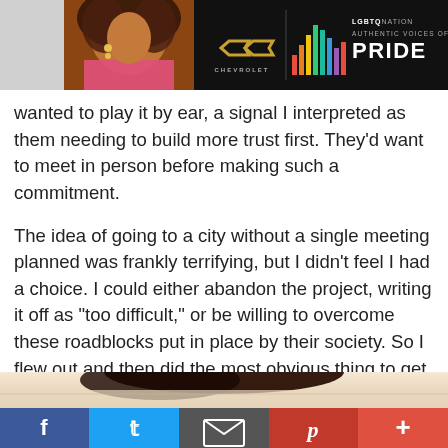[Figure (screenshot): LGBTQ Nation / Chevrolet 'Authentic Voices of Pride' advertisement banner with a drag queen on the left, Chevrolet bowtie logo in the center, and colorful audio bars with LGBTQ Nation branding on the right.]
wanted to play it by ear, a signal I interpreted as them needing to build more trust first. They’d want to meet in person before making such a commitment.
The idea of going to a city without a single meeting planned was frankly terrifying, but I didn’t feel I had a choice. I could either abandon the project, writing it off as “too difficult,” or be willing to overcome these roadblocks put in place by their society. So I flew out and then did the most obvious thing to get in touch with the local gays—I turned on the apps.
[Figure (photo): Partial photo showing the top of a person's head with dark curly hair against a light background.]
[Figure (infographic): Social media sharing bar with Facebook (blue), Twitter (light blue), Email (dark gray), Pinterest (red), and more (orange-red) buttons.]